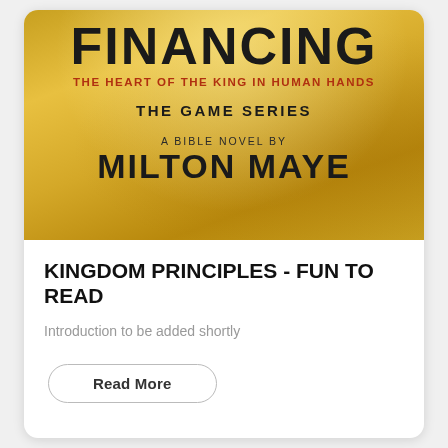[Figure (illustration): Book cover for 'Kingdom Financing: The Heart of the King in Human Hands' - The Game Series, a Bible Novel by Milton Maye. Gold textured background with large black title text 'FINANCING', red subtitle text 'THE HEART OF THE KING IN HUMAN HANDS', bold 'THE GAME SERIES', 'A BIBLE NOVEL BY MILTON MAYE'.]
KINGDOM PRINCIPLES - FUN TO READ
Introduction to be added shortly
Read More